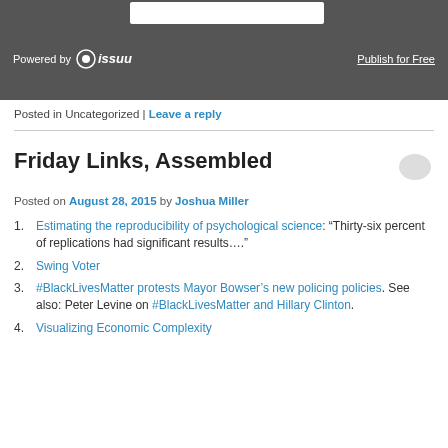Powered by issuu | Publish for Free
Posted in Uncategorized | Leave a reply
Friday Links, Assembled
Posted on August 28, 2015 by Joshua Miller
Estimating the reproducibility of psychological science: “Thirty-six percent of replications had significant results….”
Swing Voter
#BlackLivesMatter protests Mayor Bowser’s new policing policies. See also: Peter Levine on #BlackLivesMatter and Hillary Clinton.
Visualizing Economic Complexity